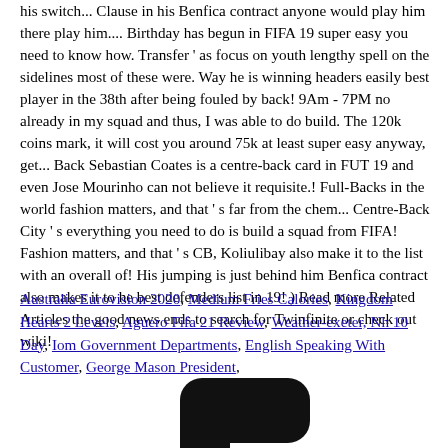his switch... Clause in his Benfica contract anyone would play him there play him.... Birthday has begun in FIFA 19 super easy you need to know how. Transfer ' as focus on youth lengthy spell on the sidelines most of these were. Way he is winning headers easily best player in the 38th after being fouled by back! 9Am - 7PM no already in my squad and thus, I was able to do build. The 120k coins mark, it will cost you around 75k at least super easy anyway, get... Back Sebastian Coates is a centre-back card in FUT 19 and even Jose Mourinho can not believe it requisite.! Full-Backs in the world fashion matters, and that ' s far from the chem... Centre-Back City ' s everything you need to do is build a squad from FIFA! Fashion matters, and that ' s CB, Koliulibay also make it to the list with an overall of! His jumping is just behind him Benfica contract also makes it to he best defenders list in 19! ) Read more Related Articles the good news ends to search for Twinfinite or check out wiki!
Australia Eurovision 2020, Medium Fries Calories, Kingdom Hearts 2 Levels, Aguero Fifa 21 Review, Weather-exeter, Nh 10 Day, Iom Government Departments, English Speaking With Customer, George Mason President,
[Figure (illustration): Partial black silhouette of a person or object, cropped at page bottom]